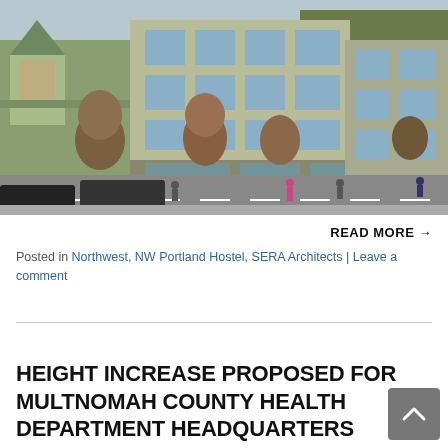[Figure (photo): Architectural rendering of a mixed-use building on a street corner in Portland, showing a modern 4-story beige/tan building adjacent to an older Victorian-style green building, with pedestrians and cars on the street.]
READ MORE →
Posted in Northwest, NW Portland Hostel, SERA Architects | Leave a comment
HEIGHT INCREASE PROPOSED FOR MULTNOMAH COUNTY HEALTH DEPARTMENT HEADQUARTERS